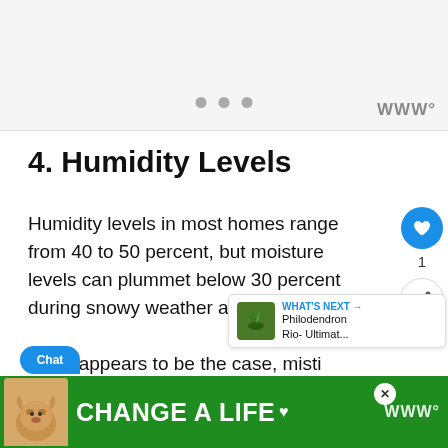[Figure (other): Light grey banner area at top with three dot pagination indicators and a watermark logo in the bottom right]
4. Humidity Levels
Humidity levels in most homes range from 40 to 50 percent, but moisture levels can plummet below 30 percent during snowy weather and dry season.
If this appears to be the case, misting is an excellent way to restore the proper humidity
[Figure (other): What's Next panel showing Philodendron Rio- Ultimat... with a plant image]
[Figure (other): Bottom green advertisement banner reading CHANGE A LIFE with a dog photo]